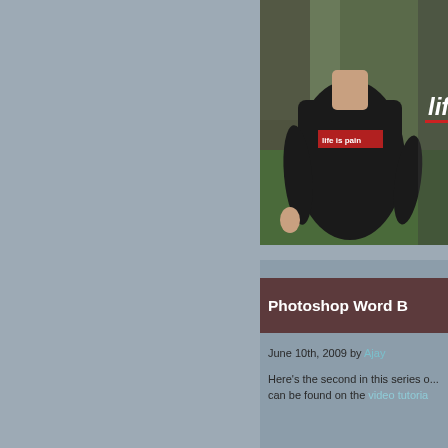[Figure (photo): Photograph of a person wearing a black t-shirt with 'life is pain' text, standing outdoors near a tree with green grass background. Partially cropped on right side. White cursive text 'lif' visible on right edge with red underline.]
Photoshop Word B...
June 10th, 2009 by Ajay
Here's the second in this series o... can be found on the video tutoria...